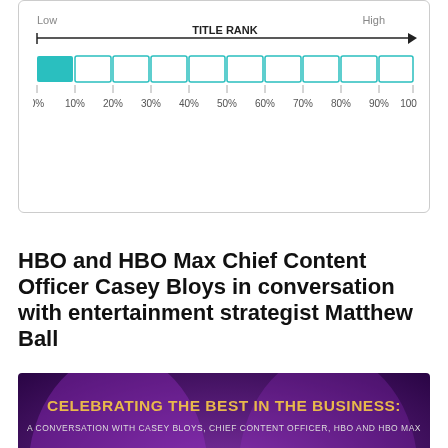[Figure (other): Title rank bar chart showing a filled teal bar in the 0-10% range against 10 equal segments spanning 0% to 100%, with Low and High labels on arrows indicating direction]
HBO and HBO Max Chief Content Officer Casey Bloys in conversation with entertainment strategist Matthew Ball
[Figure (screenshot): Video thumbnail on purple background showing two circular headshots and a play button, with text CELEBRATING THE BEST IN THE BUSINESS: A CONVERSATION WITH CASEY BLOYS, CHIEF CONTENT OFFICER, HBO AND HBO MAX]